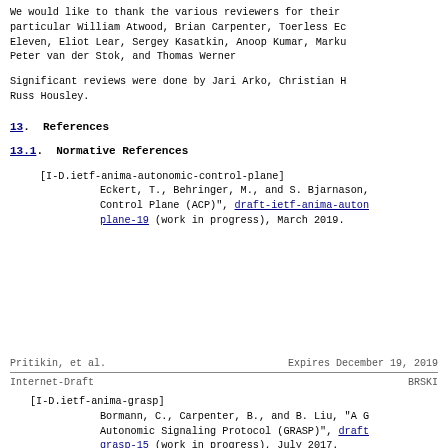We would like to thank the various reviewers for their particular William Atwood, Brian Carpenter, Toerless Ec Eleven, Eliot Lear, Sergey Kasatkin, Anoop Kumar, Marku Peter van der Stok, and Thomas Werner
Significant reviews were done by Jari Arko, Christian H Russ Housley.
13.  References
13.1.  Normative References
[I-D.ietf-anima-autonomic-control-plane]
         Eckert, T., Behringer, M., and S. Bjarnason,
         Control Plane (ACP)", draft-ietf-anima-auton
         plane-19 (work in progress), March 2019.
Pritikin, et al.          Expires December 19, 2019
Internet-Draft                              BRSKI
[I-D.ietf-anima-grasp]
         Bormann, C., Carpenter, B., and B. Liu, "A G
         Autonomic Signaling Protocol (GRASP)", draft
         grasp-15 (work in progress), July 2017.